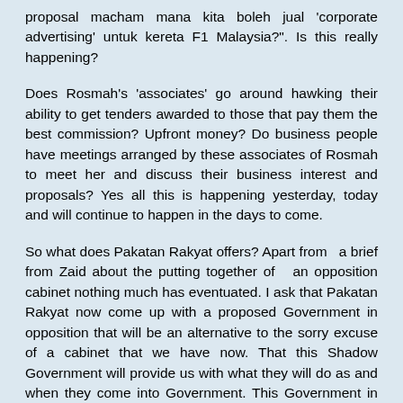proposal macham mana kita boleh jual 'corporate advertising' untuk kereta F1 Malaysia?". Is this really happening?
Does Rosmah's 'associates' go around hawking their ability to get tenders awarded to those that pay them the best commission? Upfront money? Do business people have meetings arranged by these associates of Rosmah to meet her and discuss their business interest and proposals? Yes all this is happening yesterday, today and will continue to happen in the days to come.
So what does Pakatan Rakyat offers? Apart from  a brief from Zaid about the putting together of  an opposition cabinet nothing much has eventuated. I ask that Pakatan Rakyat now come up with a proposed Government in opposition that will be an alternative to the sorry excuse of a cabinet that we have now. That this Shadow Government will provide us with what they will do as and when they come into Government. This Government in Waiting will have shadow ministers capable of going head to head with their counterparts in Government to show that they have...